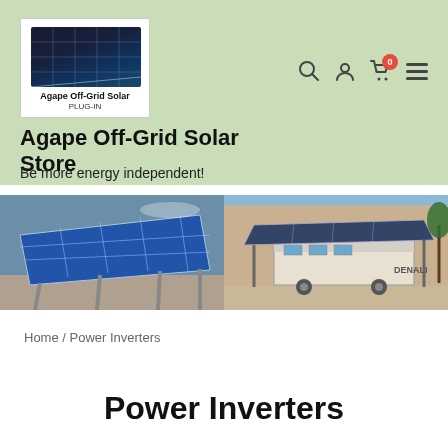[Figure (logo): Agape Off-Grid Solar logo with solar panel image and text 'Agape Off-Grid Solar PLUG-IN']
Agape Off-Grid Solar Store
Be more energy independent!
[Figure (photo): Two side-by-side photos: left shows large solar panels mounted on a rooftop structure in a desert setting; right shows an RV with solar panels mounted on a carport structure]
Home / Power Inverters
Power Inverters